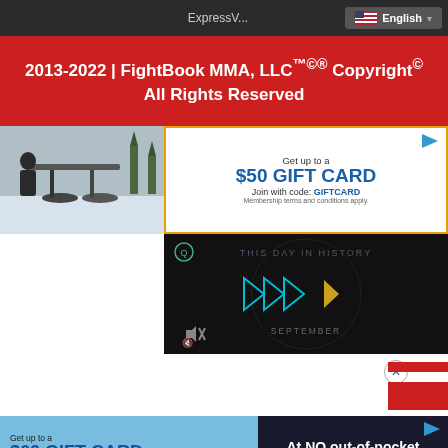ExpressV... English
2013-2022 | FightBook MMA, LLC™©® Copyright© All Rights Reserved
[Figure (screenshot): Advertisement showing a bike rack photo on the left and a gift card offer on the right: Get up to a $50 GIFT CARD, Join with code: GIFTCARD, Membership terms and conditions apply.]
[Figure (screenshot): Video player with dark background showing 'THIS DAY IN HISTORY' and 'SEPTEMBER' with play button icons and a mute icon.]
[Figure (screenshot): Bottom advertisement: Get up to a $60 GIFT CARD, Join Fly-U-Home with code RECOVER, Membership terms and conditions apply. Right side: At NO out-of-pocket expense.]